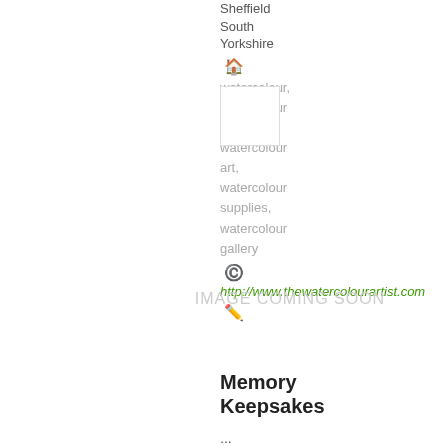Sheffield
South
Yorkshire
watercolour, watercolour artists, watercolour art, watercolour supplies, watercolour gallery
http://www.thewatercolourartist.com
[Figure (other): Small card/thumbnail placeholder box with home and edit icons]
IMAGE COMING SOON
Memory Keepsakes
...
«